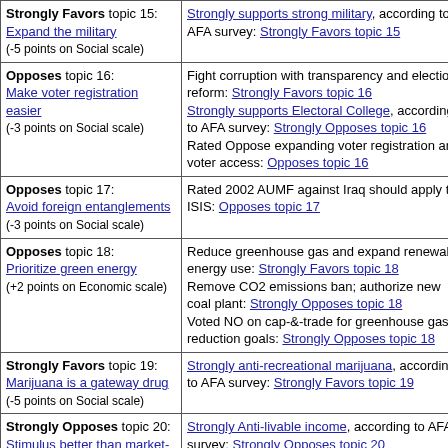| Position | Evidence |
| --- | --- |
| Strongly Favors topic 15: Expand the military (-5 points on Social scale) | Strongly supports strong military, according to AFA survey: Strongly Favors topic 15 |
| Opposes topic 16: Make voter registration easier (-3 points on Social scale) | Fight corruption with transparency and election reform: Strongly Favors topic 16
Strongly supports Electoral College, according to AFA survey: Strongly Opposes topic 16
Rated Oppose expanding voter registration and voter access: Opposes topic 16 |
| Opposes topic 17: Avoid foreign entanglements (-3 points on Social scale) | Rated 2002 AUMF against Iraq should apply to ISIS: Opposes topic 17 |
| Opposes topic 18: Prioritize green energy (+2 points on Economic scale) | Reduce greenhouse gas and expand renewable energy use: Strongly Favors topic 18
Remove CO2 emissions ban; authorize new coal plant: Strongly Opposes topic 18
Voted NO on cap-&-trade for greenhouse gas reduction goals: Strongly Opposes topic 18 |
| Strongly Favors topic 19: Marijuana is a gateway drug (-5 points on Social scale) | Strongly anti-recreational marijuana, according to AFA survey: Strongly Favors topic 19 |
| Strongly Opposes topic 20: Stimulus better than market-led recovery (+5 points on Economic scale) | Strongly Anti-livable income, according to AFA survey: Strongly Opposes topic 20
Rated Opposed $1.9 trillion ARPA bill for COVID relief: Strongly Opposes topic 20 |